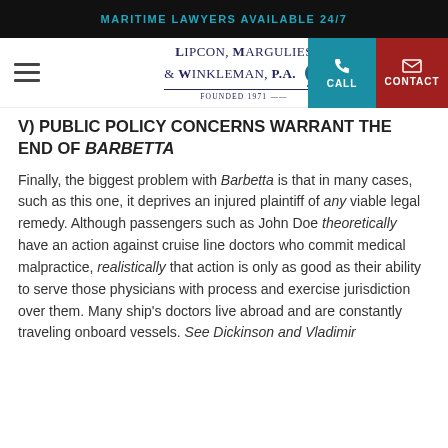MARITIME LAWYERS AVAILABLE 24/7
[Figure (logo): Lipcon, Margulies & Winkleman, P.A. Founded 1971 logo with anchor icon, plus CALL and CONTACT nav buttons]
V) PUBLIC POLICY CONCERNS WARRANT THE END OF BARBETTA
Finally, the biggest problem with Barbetta is that in many cases, such as this one, it deprives an injured plaintiff of any viable legal remedy. Although passengers such as John Doe theoretically have an action against cruise line doctors who commit medical malpractice, realistically that action is only as good as their ability to serve those physicians with process and exercise jurisdiction over them. Many ship's doctors live abroad and are constantly traveling onboard vessels. See Dickinson and Vladimir